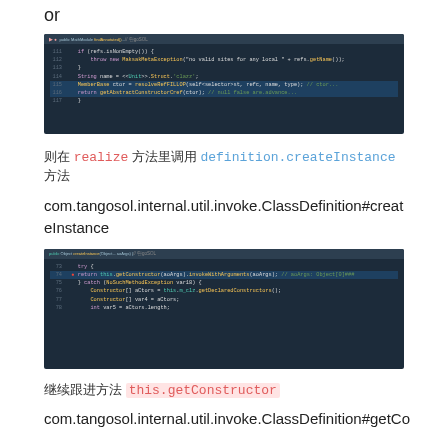or
[Figure (screenshot): IDE code screenshot showing Java method with highlighted line, dark theme]
则在 realize 方法里调用 definition.createInstance 方法
com.tangosol.internal.util.invoke.ClassDefinition#createInstance
[Figure (screenshot): IDE code screenshot showing createInstance method with highlighted return statement, dark theme]
继续跟进方法 this.getConstructor
com.tangosol.internal.util.invoke.ClassDefinition#getCo